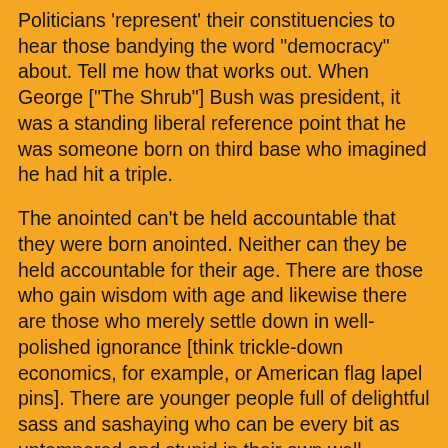Politicians 'represent' their constituencies to hear those bandying the word "democracy" about. Tell me how that works out. When George ["The Shrub"] Bush was president, it was a standing liberal reference point that he was someone born on third base who imagined he had hit a triple.
The anointed can't be held accountable that they were born anointed. Neither can they be held accountable for their age. There are those who gain wisdom with age and likewise there are those who merely settle down in well-polished ignorance [think trickle-down economics, for example, or American flag lapel pins]. There are younger people full of delightful sass and sashaying who can be every bit as untempered and stupid in their own well-polished credos ... using volume as a substitute for a veracity ["I don't need proof because my heart is in the right place...."] that deserves a backstory and, what is increasingly absent, a willingness to blush.
Ah, politics.
The stub that time has to this page is cut off.